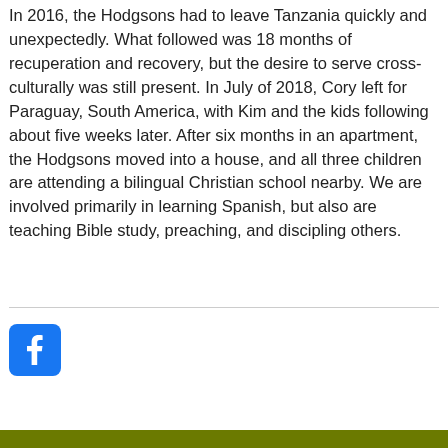In 2016, the Hodgsons had to leave Tanzania quickly and unexpectedly. What followed was 18 months of recuperation and recovery, but the desire to serve cross-culturally was still present. In July of 2018, Cory left for Paraguay, South America, with Kim and the kids following about five weeks later. After six months in an apartment, the Hodgsons moved into a house, and all three children are attending a bilingual Christian school nearby. We are involved primarily in learning Spanish, but also are teaching Bible study, preaching, and discipling others.
[Figure (logo): Facebook logo icon — blue rounded square with white letter f]